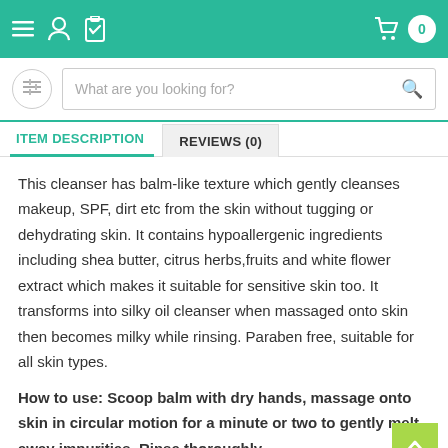Navigation bar with menu, user, wishlist icons on left; cart with count 0 on right
[Figure (screenshot): Search bar with logo circle on left and search input 'What are you looking for?' with magnifier icon]
ITEM DESCRIPTION | REVIEWS (0)
This cleanser has balm-like texture which gently cleanses makeup, SPF, dirt etc from the skin without tugging or dehydrating skin. It contains hypoallergenic ingredients including shea butter, citrus herbs,fruits and white flower extract which makes it suitable for sensitive skin too. It transforms into silky oil cleanser when massaged onto skin then becomes milky while rinsing. Paraben free, suitable for all skin types.
How to use: Scoop balm with dry hands, massage onto skin in circular motion for a minute or two to gently melt away impurities. Rinse thoroughly.